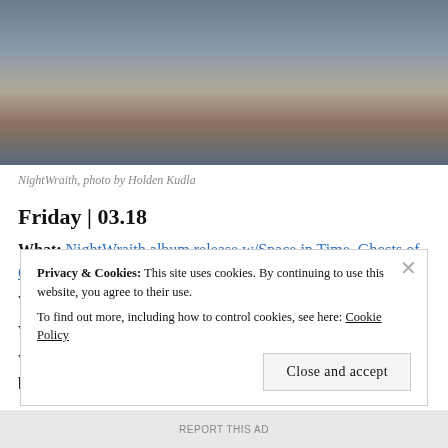[Figure (photo): Band photo of NightWraith, showing group of people with tattoos near industrial setting]
NightWraith, photo by Holden Kudla
Friday | 03.18
What: NightWraith album release w/Space in Time, Ghosts of Glaciers and Ashes For the Mute
When: 8 p.m.
Where: Hi-Dive
Why: Calling any band a “supergroup” is a bit of a misnomer but Denver’s NightWraith has a major
Privacy & Cookies: This site uses cookies. By continuing to use this website, you agree to their use.
To find out more, including how to control cookies, see here: Cookie Policy
Close and accept
REPORT THIS AD